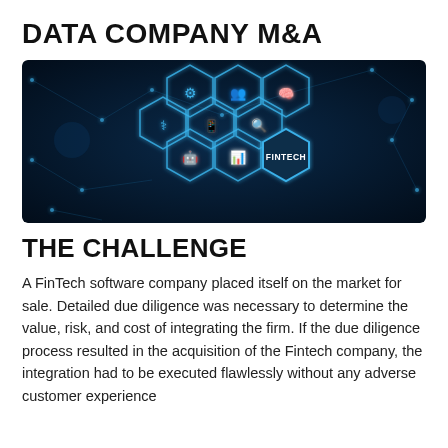DATA COMPANY M&A
[Figure (photo): Dark blue digital fintech illustration showing glowing hexagon icons connected by network lines on a dark background. Hexagons contain icons for AI, people, smartphone, data, target/search, and a prominent 'FINTECH' labeled hexagon in the lower right.]
THE CHALLENGE
A FinTech software company placed itself on the market for sale. Detailed due diligence was necessary to determine the value, risk, and cost of integrating the firm. If the due diligence process resulted in the acquisition of the Fintech company, the integration had to be executed flawlessly without any adverse customer experience